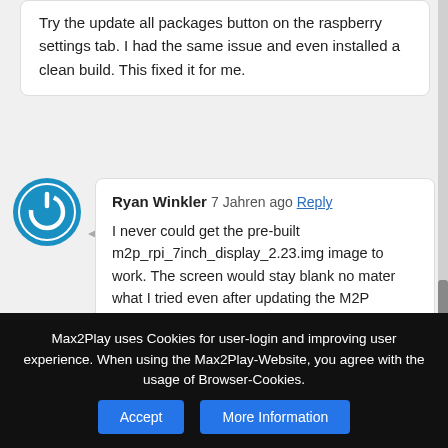Try the update all packages button on the raspberry settings tab. I had the same issue and even installed a clean build. This fixed it for me.
Ryan Winkler 7 Jahren ago Reply

I never could get the pre-built m2p_rpi_7inch_display_2.23.img image to work. The screen would stay blank no mater what I tried even after updating the M2P software to version 2.27 or the latest beta version.
I ended up having to use the m2p_default_226_wps.img and build everything the long way.
As soon as I used the
Max2Play uses Cookies for user-login and improving user experience. When using the Max2Play-Website, you agree with the usage of Browser-Cookies.